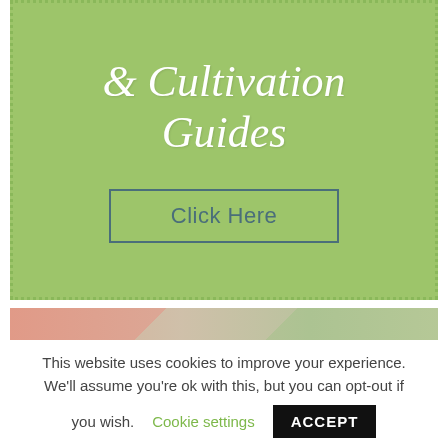[Figure (illustration): Green banner with dotted border containing cursive white text '& Cultivation Guides' and a 'Click Here' button with teal border]
[Figure (photo): Partial photo strip showing people in a wellness/gardening scene with pink and green tones]
This website uses cookies to improve your experience. We'll assume you're ok with this, but you can opt-out if you wish. Cookie settings ACCEPT